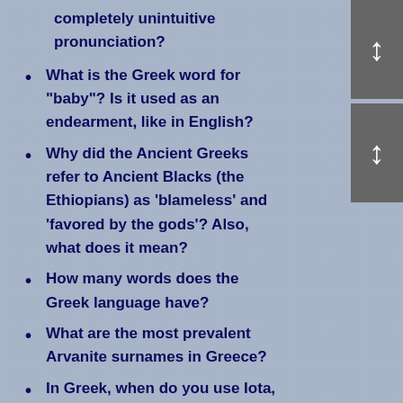completely unintuitive pronunciation?
What is the Greek word for "baby"? Is it used as an endearment, like in English?
Why did the Ancient Greeks refer to Ancient Blacks (the Ethiopians) as 'blameless' and 'favored by the gods'? Also, what does it mean?
How many words does the Greek language have?
What are the most prevalent Arvanite surnames in Greece?
In Greek, when do you use Iota, Eta and Upsilon? What's the difference?